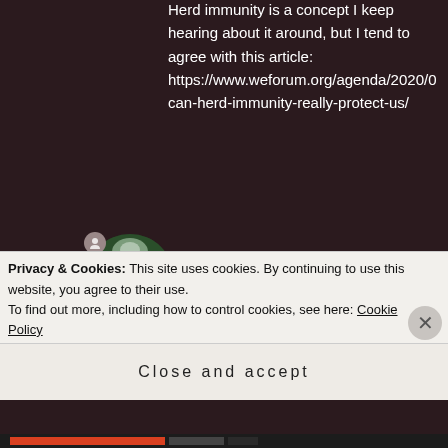Herd immunity is a concept I keep hearing about it around, but I tend to agree with this article: https://www.weforum.org/agenda/2020/0 can-herd-immunity-really-protect-us/
[Figure (photo): Circular avatar image showing a green staircase/path with light at the top, with a small user icon badge in the top-left]
MARK LANESBURY says: March 22, 2020 at 7:28 pm
Yes that article is very right Kristine
Privacy & Cookies: This site uses cookies. By continuing to use this website, you agree to their use.
To find out more, including how to control cookies, see here: Cookie Policy
Close and accept